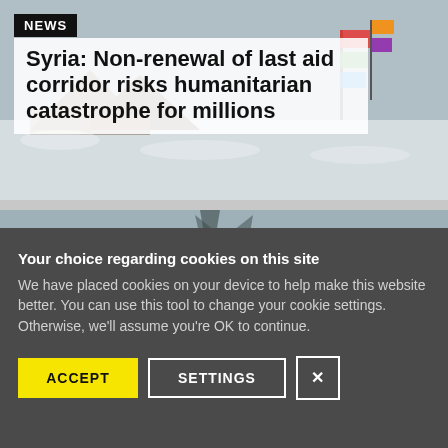[Figure (photo): Snow-covered refugee camp or outdoor scene with tents/structures and colourful flags, muted winter tones]
NEWS
Syria: Non-renewal of last aid corridor risks humanitarian catastrophe for millions
[Figure (photo): Partial second news article image — snow-covered landscape/road, partially visible at top]
Your choice regarding cookies on this site
We have placed cookies on your device to help make this website better. You can use this tool to change your cookie settings. Otherwise, we'll assume you're OK to continue.